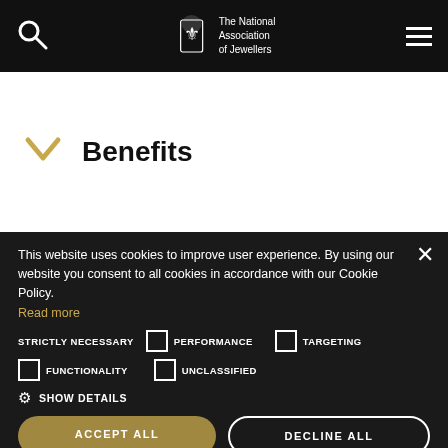[Figure (logo): The National Association of Jewellers logo with crest and text, plus search icon and hamburger menu on black navigation bar]
Benefits
This website uses cookies to improve user experience. By using our website you consent to all cookies in accordance with our Cookie Policy.
Read more
STRICTLY NECESSARY  PERFORMANCE  TARGETING  FUNCTIONALITY  UNCLASSIFIED
SHOW DETAILS
ACCEPT ALL
DECLINE ALL